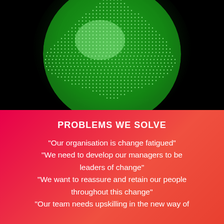[Figure (photo): A glowing green disco ball or LED sphere against a black background, made up of rows of small bright green and white lights forming a spherical shape.]
PROBLEMS WE SOLVE
"Our organisation is change fatigued" "We need to develop our managers to be leaders of change" "We want to reassure and retain our people throughout this change" "Our team needs upskilling in the new way of